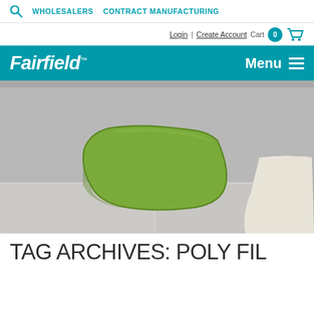WHOLESALERS   CONTRACT MANUFACTURING
Login | Create Account Cart 0
Fairfield™   Menu
[Figure (photo): A green square pillow leaning against a light gray sofa surface, with a cream/white pillow partially visible on the right side. Gray/beige background.]
TAG ARCHIVES: POLY FIL